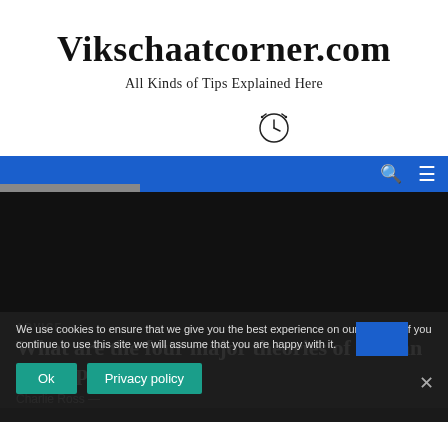Vikschaatcorner.com
All Kinds of Tips Explained Here
[Figure (illustration): Clock/alarm icon]
[Figure (screenshot): Blue navigation bar with search and menu icons, dark hero image area]
ADVICE
What are the four major theories of human development?
Charlie Ross —
We use cookies to ensure that we give you the best experience on our website. If you continue to use this site we will assume that you are happy with it.
Ok
Privacy policy